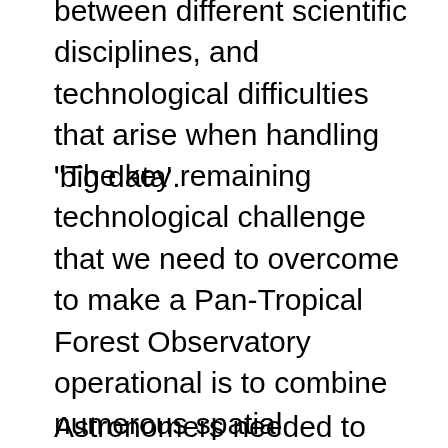between different scientific disciplines, and technological difficulties that arise when handling 'big data'.
"The key remaining technological challenge that we need to overcome to make a Pan-Tropical Forest Observatory operational is to combine numerous spatial databases on changes in forest area, carbon and species content in different regions," said Dr Grainger. "Our first thought was to combine them in just one big computer database, from which scientists could download the digital maps they needed. Then we learned that astronomers had successfully tackled a similar problem in a different way."
Astronomers needed to combine multiple digital